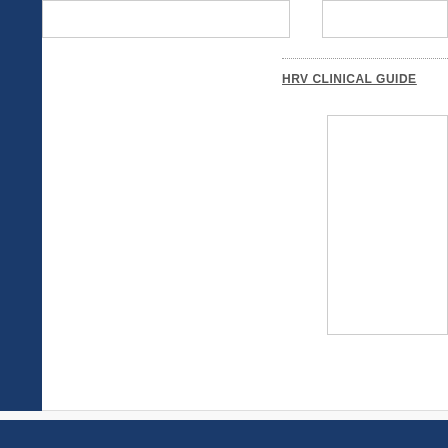HRV CLINICAL GUIDE
[Figure (logo): Payment method logos: PayPal, VISA, American Express, MasterCard displayed in footer area]